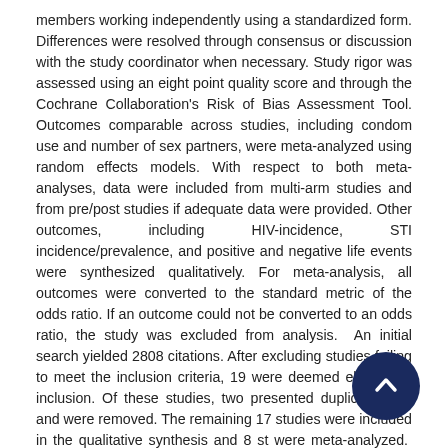members working independently using a standardized form. Differences were resolved through consensus or discussion with the study coordinator when necessary. Study rigor was assessed using an eight point quality score and through the Cochrane Collaboration's Risk of Bias Assessment Tool. Outcomes comparable across studies, including condom use and number of sex partners, were meta-analyzed using random effects models. With respect to both meta-analyses, data were included from multi-arm studies and from pre/post studies if adequate data were provided. Other outcomes, including HIV-incidence, STI incidence/prevalence, and positive and negative life events were synthesized qualitatively. For meta-analysis, all outcomes were converted to the standard metric of the odds ratio. If an outcome could not be converted to an odds ratio, the study was excluded from analysis.  An initial search yielded 2808 citations. After excluding studies failing to meet the inclusion criteria, 19 were deemed eligible for inclusion. Of these studies, two presented duplicate data and were removed. The remaining 17 studies were included in the qualitative synthesis and 8 st were meta-analyzed.  Twelve studies offered  clinic-base were employment-based, 1 involved mobile VCT, and 1 p home-based VCT.  In meta-analysis, the odds of reporting